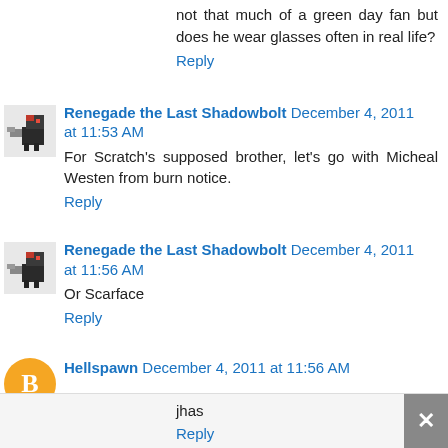not that much of a green day fan but does he wear glasses often in real life?
Reply
Renegade the Last Shadowbolt December 4, 2011 at 11:53 AM
For Scratch's supposed brother, let's go with Micheal Westen from burn notice.
Reply
Renegade the Last Shadowbolt December 4, 2011 at 11:56 AM
Or Scarface
Reply
Hellspawn December 4, 2011 at 11:56 AM
jhas
Reply